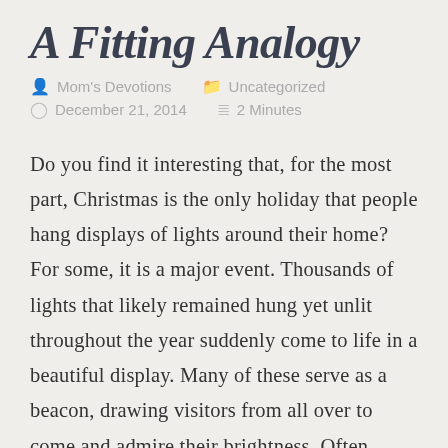A Fitting Analogy
Mom's Devotions   Uncategorized   December 21, 2014   2 Minutes
Do you find it interesting that, for the most part, Christmas is the only holiday that people hang displays of lights around their home? For some, it is a major event. Thousands of lights that likely remained hung yet unlit throughout the year suddenly come to life in a beautiful display. Many of these serve as a beacon, drawing visitors from all over to come and admire their brightness. Often entire city streets will be lit in a colorful glow. It's quite amazing to drive around in the dark of night and see all of the lights.